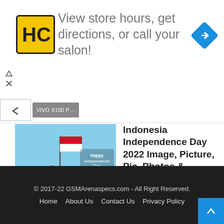[Figure (illustration): Advertisement banner: HC logo (yellow square with HC letters), text 'View store hours, get directions, or call your salon!', blue navigation arrow diamond icon]
[Figure (photo): Indonesia Independence Day image: children running with Indonesian flag on beach, text overlay 'Happy Independence Day']
Indonesia Independence Day 2022 Image, Picture, Pic, Photos & Wallpaper HD
7 days ago
Load More
© 2017-22 GSMArenaspecs.com - All Right Reserved.
Home   About Us   Contact Us   Privacy Policy